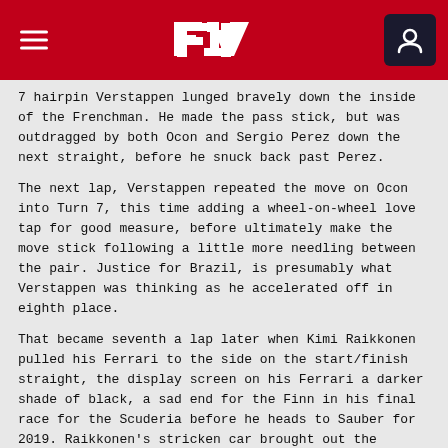F1 Logo header with navigation
7 hairpin Verstappen lunged bravely down the inside of the Frenchman. He made the pass stick, but was outdragged by both Ocon and Sergio Perez down the next straight, before he snuck back past Perez.
The next lap, Verstappen repeated the move on Ocon into Turn 7, this time adding a wheel-on-wheel love tap for good measure, before ultimately make the move stick following a little more needling between the pair. Justice for Brazil, is presumably what Verstappen was thinking as he accelerated off in eighth place.
That became seventh a lap later when Kimi Raikkonen pulled his Ferrari to the side on the start/finish straight, the display screen on his Ferrari a darker shade of black, a sad end for the Finn in his final race for the Scuderia before he heads to Sauber for 2019. Raikkonen's stricken car brought out the Virtual Safety Car, and